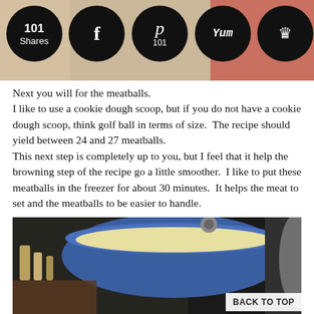[Figure (screenshot): Social sharing bar with circular icon buttons: 101 Shares, Facebook f, Pinterest P with 101, Yum, and crown icon, overlaid on a food photo background]
Next you will for the meatballs. I like to use a cookie dough scoop, but if you do not have a cookie dough scoop, think golf ball in terms of size. The recipe should yield between 24 and 27 meatballs. This next step is completely up to you, but I feel that it help the browning step of the recipe go a little smoother. I like to put these meatballs in the freezer for about 30 minutes. It helps the meat to set and the meatballs to be easier to handle.
[Figure (photo): Photo of a blue cast iron pot on a stove with cooking oil inside, kitchen background with spices and cookware visible. A 'BACK TO TOP' button overlay is visible in the bottom right.]